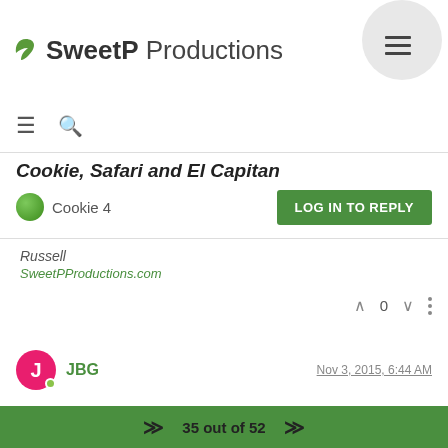SweetP Productions
Cookie, Safari and El Capitan
Cookie 4
LOG IN TO REPLY
Russell
SweetPProductions.com
0
JBG   Nov 3, 2015, 6:44 AM
Long time lurker and liking the product, just dived in and bought in time
35 out of 52